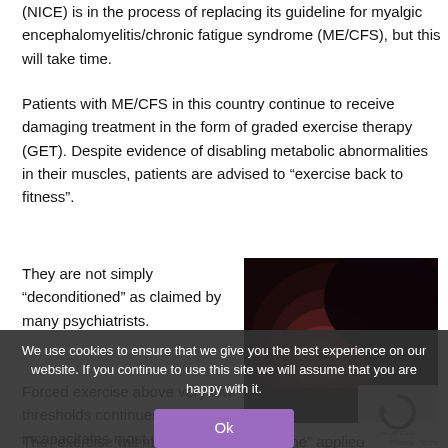(NICE) is in the process of replacing its guideline for myalgic encephalomyelitis/chronic fatigue syndrome (ME/CFS), but this will take time.
Patients with ME/CFS in this country continue to receive damaging treatment in the form of graded exercise therapy (GET). Despite evidence of disabling metabolic abnormalities in their muscles, patients are advised to “exercise back to fitness”.
They are not simply “deconditioned” as claimed by many psychiatrists.
[Figure (photo): Dark close-up photo of a person's face lying sideways, dim lighting with dark red background tones.]
Forced exercise above very low thresholds continues to incapacitates most patients.
The “exercise will make you better doctrine” applied ME/CFS is profoundly incorrect and has caused great if...